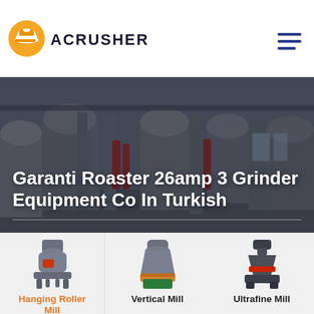[Figure (logo): Acrusher company logo with orange helmet icon and bold dark text 'ACRUSHER']
Garanti Roaster 26amp 3 Grinder Equipment Co In Turkish
[Figure (photo): Industrial grinding/milling machinery in a factory hall, background hero image]
[Figure (photo): Three grinding mill product images: Hanging Roller Mill, Vertical Mill, Ultrafine Mill]
Hanging Roller Mill
Vertical Mill
Ultrafine Mill